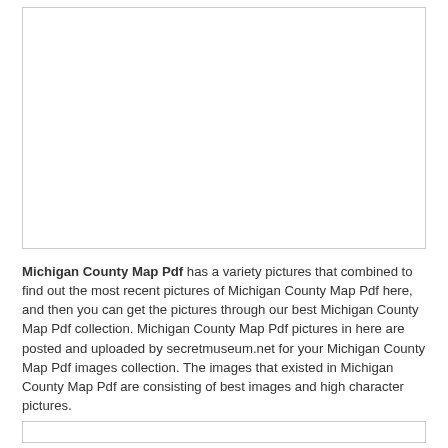[Figure (other): Empty bordered image area placeholder for Michigan County Map Pdf]
Michigan County Map Pdf has a variety pictures that combined to find out the most recent pictures of Michigan County Map Pdf here, and then you can get the pictures through our best Michigan County Map Pdf collection. Michigan County Map Pdf pictures in here are posted and uploaded by secretmuseum.net for your Michigan County Map Pdf images collection. The images that existed in Michigan County Map Pdf are consisting of best images and high character pictures.
[Figure (other): Empty bordered box at bottom of page]